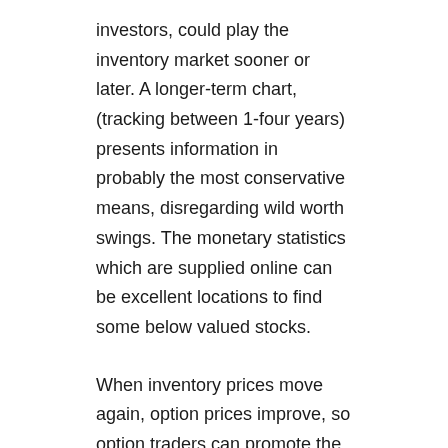investors, could play the inventory market sooner or later. A longer-term chart, (tracking between 1-four years) presents information in probably the most conservative means, disregarding wild worth swings. The monetary statistics which are supplied online can be excellent locations to find some below valued stocks.
When inventory prices move again, option prices improve, so option traders can promote the choices they bought cheaply fo...
alexandria   January 21, 2019   Historical Stock Prices
Read More